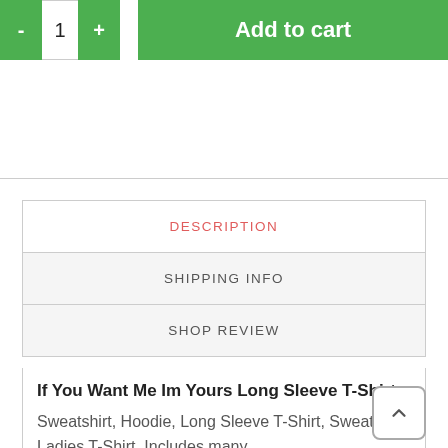[Figure (screenshot): E-commerce quantity selector with minus and plus buttons showing value 1, and a green Add to cart button]
DESCRIPTION
SHIPPING INFO
SHOP REVIEW
If You Want Me Im Yours Long Sleeve T-Shirt, Sweatshirt, Hoodie, Long Sleeve T-Shirt, Sweatshirt, Ladies T-Shirt. Includes many